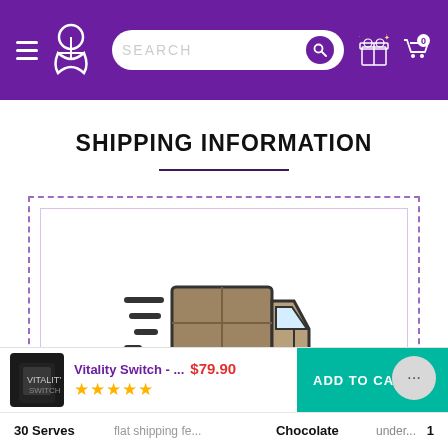[Figure (screenshot): E-commerce website header with purple background, hamburger menu, logo (person icon), search bar, gift icon, and cart with 0 items]
SHIPPING INFORMATION
[Figure (illustration): Fast delivery truck illustration inside a dashed border box]
[Figure (screenshot): Product bottom bar: Vitality Switch product image, name, 5-star rating, price $79.90, ADD TO CART button, 30 Serves, Chocolate, quantity 1]